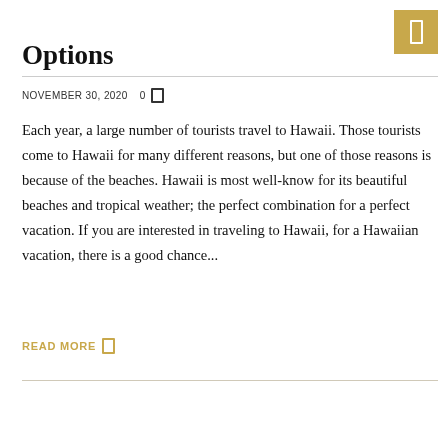Options
NOVEMBER 30, 2020    0
Each year, a large number of tourists travel to Hawaii. Those tourists come to Hawaii for many different reasons, but one of those reasons is because of the beaches. Hawaii is most well-know for its beautiful beaches and tropical weather; the perfect combination for a perfect vacation. If you are interested in traveling to Hawaii, for a Hawaiian vacation, there is a good chance...
READ MORE